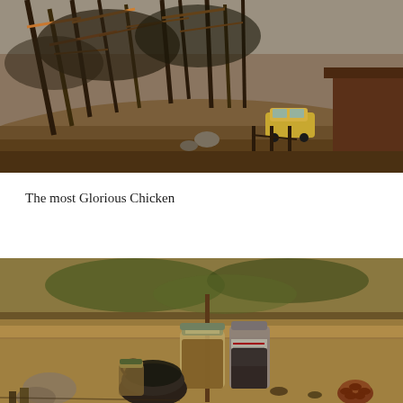[Figure (photo): Outdoor hillside scene with eucalyptus or dry trees with orange-lit branches, dry brown ground, a vintage yellow car parked in background, a brown wooden structure/shed on the right, fencing, and rocks. Daytime, warm light filtering through trees.]
The most Glorious Chicken
[Figure (photo): Close-up outdoor scene on a rustic surface with mason jars, a dark cast iron pot or kettle, bottles with labels, a pine cone, and other items on a sandy/earthy ground. Vegetation and warm earthy tones in background.]